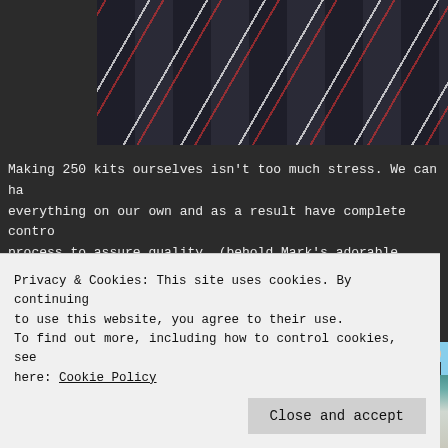[Figure (photo): Photo of boxes/kits with red and white rocket/arrow graphics on dark background, arranged in rows]
Making 250 kits ourselves isn't too much stress. We can ha everything on our own and as a result have complete contro process to assure quality. (behold Mark's adorable kitting
[Figure (photo): Advertisement banner with blue background showing 'Need Speed?' text and a person in the right corner]
[Figure (photo): Photo of kitting/assembly area with teal/blue equipment and white plastic containers]
Privacy & Cookies: This site uses cookies. By continuing to use this website, you agree to their use.
To find out more, including how to control cookies, see here: Cookie Policy